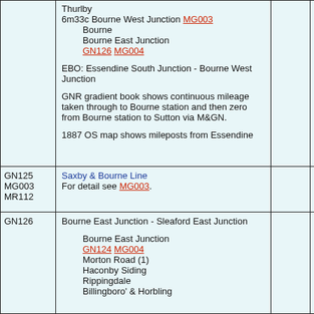| ID | Description |  |  |
| --- | --- | --- | --- |
|  | Thurlby
6m33c Bourne West Junction MG003
  Bourne
  Bourne East Junction GN126 MG004

EBO: Essendine South Junction - Bourne West Junction

GNR gradient book shows continuous mileage taken through to Bourne station and then zero from Bourne station to Sutton via M&GN.

1887 OS map shows mileposts from Essendine |  |  |
| GN125
MG003
MR112 | Saxby & Bourne Line
For detail see MG003. |  |  |
| GN126 | Bourne East Junction - Sleaford East Junction

  Bourne East Junction
  GN124 MG004
  Morton Road (1)
  Haconby Siding
  Rippingdale
  Billingboro' & Horbling |  |  |